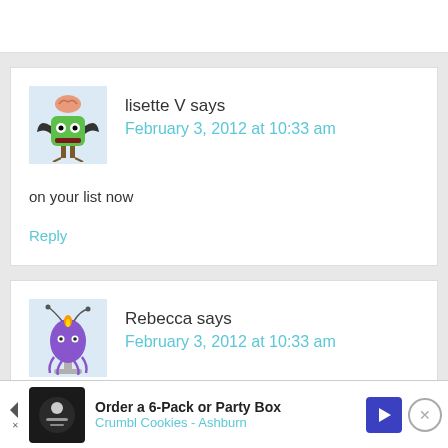lisette V says
February 3, 2012 at 10:33 am
on your list now
Reply
[Figure (illustration): Green monster avatar with bat wings and pink brain on top]
Rebecca says
February 3, 2012 at 10:33 am
[Figure (illustration): Purple alien/creature avatar on a stand]
I si
Order a 6-Pack or Party Box
Crumbl Cookies - Ashburn